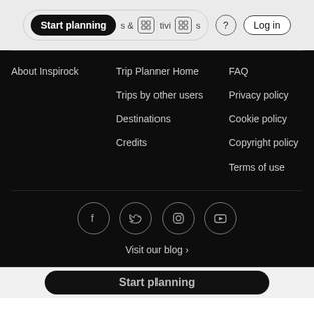[Figure (screenshot): Top navigation bar with 'Start planning' button, icons, help circle, and Log in button]
About Inspirock
Trip Planner Home
FAQ
Trips by other users
Privacy policy
Destinations
Cookie policy
Credits
Copyright policy
Terms of use
[Figure (illustration): Social media icon circles: Facebook, Twitter, Instagram, YouTube]
Visit our blog ›
[Figure (screenshot): Bottom 'Start planning' button pill]